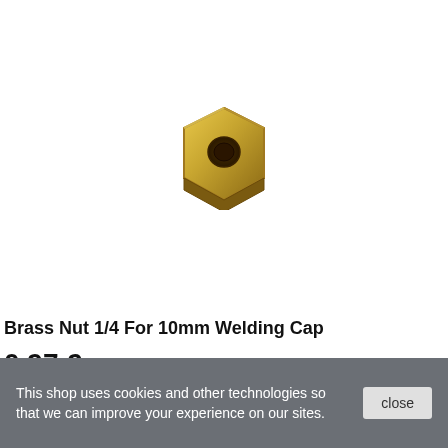[Figure (photo): A small brass hexagonal nut with a threaded hole, viewed from a slight angle, golden/yellow color.]
Brass Nut 1/4 For 10mm Welding Cap
0,97 €
This shop uses cookies and other technologies so that we can improve your experience on our sites.